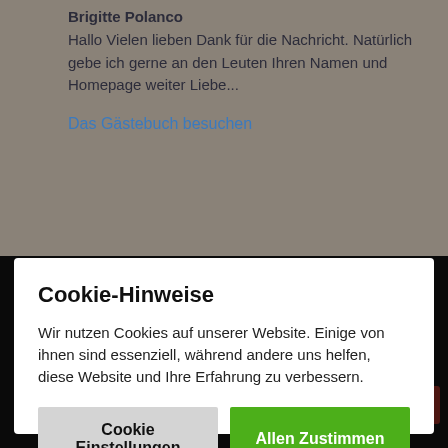Brigitte Polanco
Hallo Vielen lieben Dank für die Nachricht. Natürlich gebe ich gerne an den Leuten Ihren Namen und Homepage weiter Liebe...
Das Gästebuch besuchen
Cookie-Hinweise
Wir nutzen Cookies auf unserer Website. Einige von ihnen sind essenziell, während andere uns helfen, diese Website und Ihre Erfahrung zu verbessern.
Cookie Einstellungen
Allen Zustimmen
alles-für-selbermacher
CrazyPatterns
makerist
myboshi
mypatterns
SONSTIGES